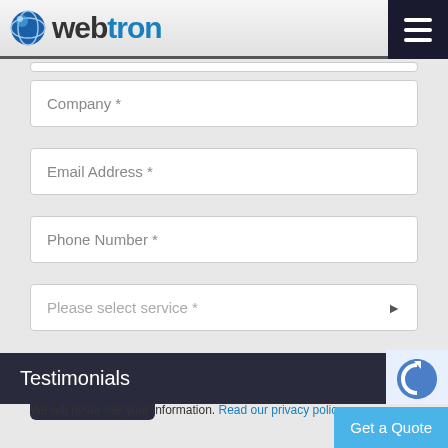[Figure (logo): Webtron logo with globe icon and text 'webtron' where 'web' is dark and 'tron' is blue]
Company *
Email Address *
Phone Number *
Please select service *
Submit
We will never sell your information. Read our privacy policy.
Testimonials
Get a Quote